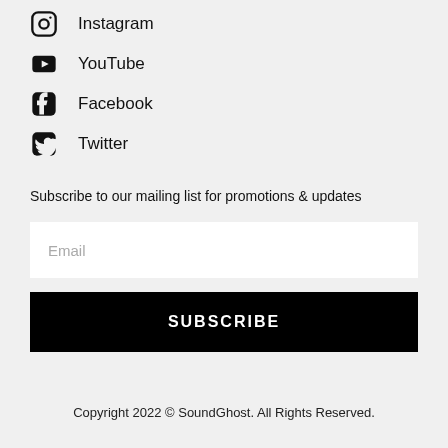Instagram
YouTube
Facebook
Twitter
Subscribe to our mailing list for promotions & updates
Email
SUBSCRIBE
Copyright 2022 © SoundGhost. All Rights Reserved.